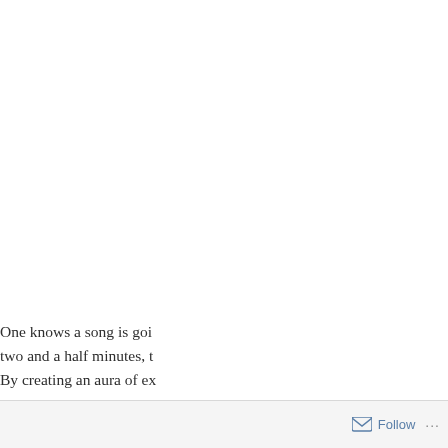One knows a song is goi… two and a half minutes, t… By creating an aura of ex…
Follow ···